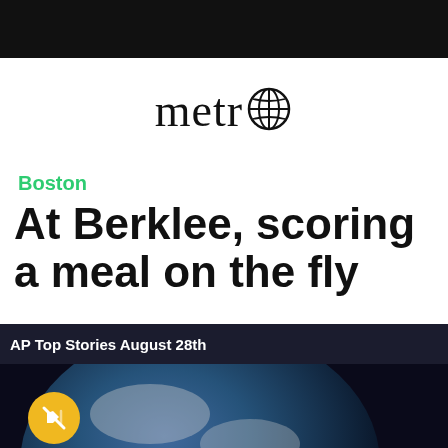[Figure (logo): metro logo with globe icon replacing the letter o]
Boston
At Berklee, scoring a meal on the fly
[Figure (screenshot): AP Top Stories August 28th video overlay with AP NewsMinute branding, globe image, mute button, and close button]
Posted on August 9, 2017
Sections  NY Edition  Philly  Games  Advertise  Sign Up